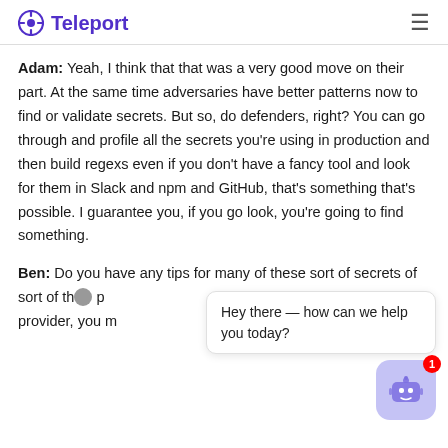Teleport
Adam: Yeah, I think that that was a very good move on their part. At the same time adversaries have better patterns now to find or validate secrets. But so, do defenders, right? You can go through and profile all the secrets you're using in production and then build regexs even if you don't have a fancy tool and look for them in Slack and npm and GitHub, that's something that's possible. I guarantee you, if you go look, you're going to find something.
Ben: Do you have any tips for many of these sort of secrets of sort of th... [overlaid by chat widget] ...en provider, you m... ...ou